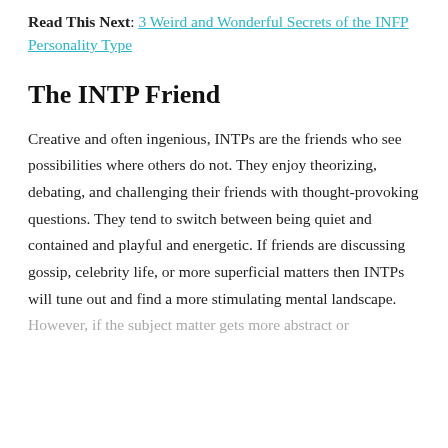Read This Next: 3 Weird and Wonderful Secrets of the INFP Personality Type
The INTP Friend
Creative and often ingenious, INTPs are the friends who see possibilities where others do not. They enjoy theorizing, debating, and challenging their friends with thought-provoking questions. They tend to switch between being quiet and contained and playful and energetic. If friends are discussing gossip, celebrity life, or more superficial matters then INTPs will tune out and find a more stimulating mental landscape. However, if the subject matter gets more abstract or